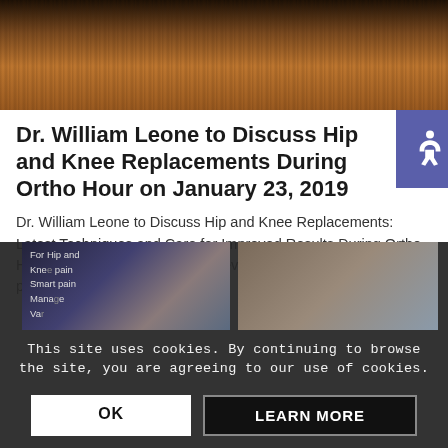[Figure (photo): Photo of a wooden podium/lectern, dark background, close-up view]
Dr. William Leone to Discuss Hip and Knee Replacements During Ortho Hour on January 23, 2019
Dr. William Leone to Discuss Hip and Knee Replacements: Latest Techniques and Care for Improved Results During Ortho Hour on January 23, 2019. This event is free and open to the public.
This site uses cookies. By continuing to browse the site, you are agreeing to our use of cookies.